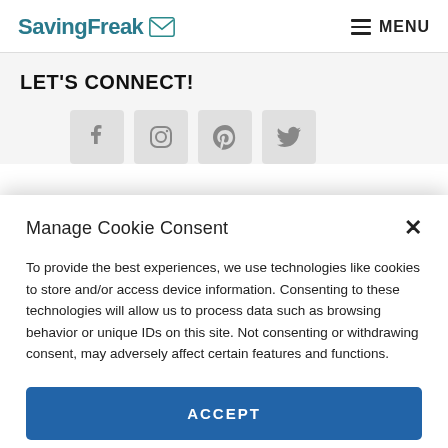SavingFreak MENU
LET'S CONNECT!
[Figure (other): Four social media icon buttons (Facebook, Instagram, Pinterest, Twitter) in grey square boxes]
Manage Cookie Consent
To provide the best experiences, we use technologies like cookies to store and/or access device information. Consenting to these technologies will allow us to process data such as browsing behavior or unique IDs on this site. Not consenting or withdrawing consent, may adversely affect certain features and functions.
ACCEPT
Cookie Policy